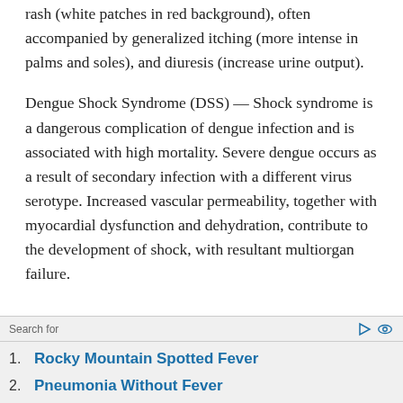rash (white patches in red background), often accompanied by generalized itching (more intense in palms and soles), and diuresis (increase urine output).
Dengue Shock Syndrome (DSS) — Shock syndrome is a dangerous complication of dengue infection and is associated with high mortality. Severe dengue occurs as a result of secondary infection with a different virus serotype. Increased vascular permeability, together with myocardial dysfunction and dehydration, contribute to the development of shock, with resultant multiorgan failure.
Search for
1. Rocky Mountain Spotted Fever
2. Pneumonia Without Fever